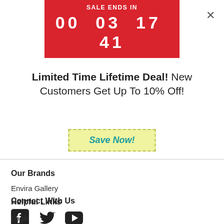[Figure (other): Red sale countdown banner showing SALE ENDS IN with timer 00 03 17 41]
Limited Time Lifetime Deal! New Customers Get Up To 10% Off!
Save Now!
Our Brands
Envira Gallery
Connect With Us
[Figure (other): Social media icons: Facebook, Twitter, YouTube]
Helpful Links
Login